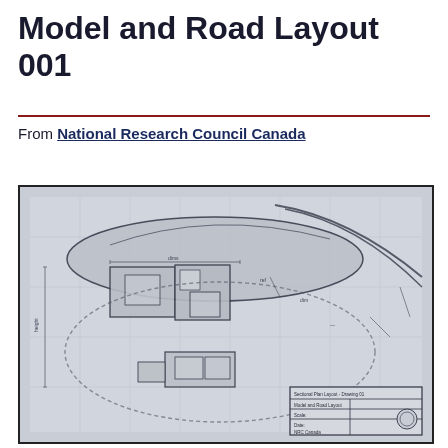Model and Road Layout 001
From National Research Council Canada
[Figure (engineering-diagram): Blueprint/technical drawing showing a plan view of a model and road layout, with a vehicle outline (top-down), road markings, building or test track structure, dimensions, and a title block in the lower right corner. The drawing is a scanned engineering blueprint in grayscale.]